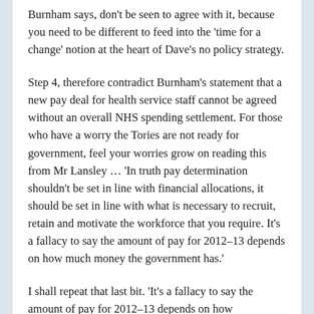Burnham says, don't be seen to agree with it, because you need to be different to feed into the 'time for a change' notion at the heart of Dave's no policy strategy.
Step 4, therefore contradict Burnham's statement that a new pay deal for health service staff cannot be agreed without an overall NHS spending settlement. For those who have a worry the Tories are not ready for government, feel your worries grow on reading this from Mr Lansley … 'In truth pay determination shouldn't be set in line with financial allocations, it should be set in line with what is necessary to recruit, retain and motivate the workforce that you require. It's a fallacy to say the amount of pay for 2012–13 depends on how much money the government has.'
I shall repeat that last bit. 'It's a fallacy to say the amount of pay for 2012–13 depends on how